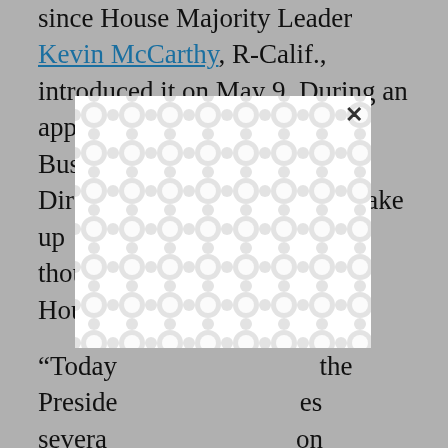since House Majority Leader Kevin McCarthy, R-Calif., introduced it on May 9. During an appearance Tuesday on Fox Business, OMB Director [obscured] would take up [obscured] week, though [obscured] e House [obscured]
[Figure (other): A white modal/popup dialog box with a decorative grey interlocking circles/bubbles pattern fill, with a close (×) button in the upper right corner, overlaid on the article text.]
“Today [obscured] the President [obscured] es several [obscured] on contin[uing] discussions with Members of Congress,” a senior administration official said in a statement. “We urge the House and Senate to pass this package to help get our fiscal house back in order, and return